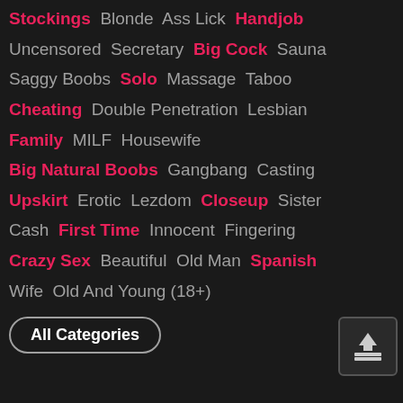Stockings  Blonde  Ass Lick  Handjob
Uncensored  Secretary  Big Cock  Sauna
Saggy Boobs  Solo  Massage  Taboo
Cheating  Double Penetration  Lesbian
Family  MILF  Housewife
Big Natural Boobs  Gangbang  Casting
Upskirt  Erotic  Lezdom  Closeup  Sister
Cash  First Time  Innocent  Fingering
Crazy Sex  Beautiful  Old Man  Spanish
Wife  Old And Young (18+)
All Categories